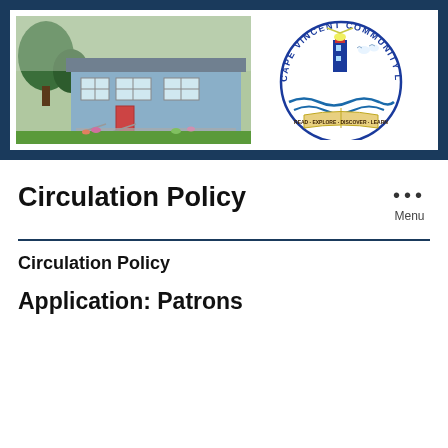[Figure (photo): Header banner showing Cape Vincent Community Library building photo on the left and the library's circular logo with lighthouse on the right, on a dark navy background]
Circulation Policy
Circulation Policy
Application: Patrons